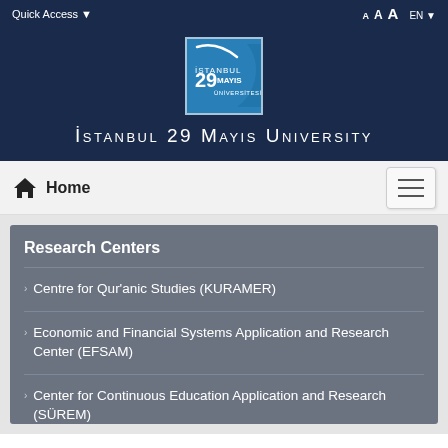Quick Access   A A A   EN
[Figure (logo): Istanbul 29 Mayis University logo — blue square with white arc and '29 Mayis Universitesi' text]
İSTANBUL 29 MAYIS UNIVERSITY
Home
Research Centers
Centre for Qur'anic Studies (KURAMER)
Economic and Financial Systems Application and Research Center (EFSAM)
Center for Continuous Education Application and Research (SÜREM)